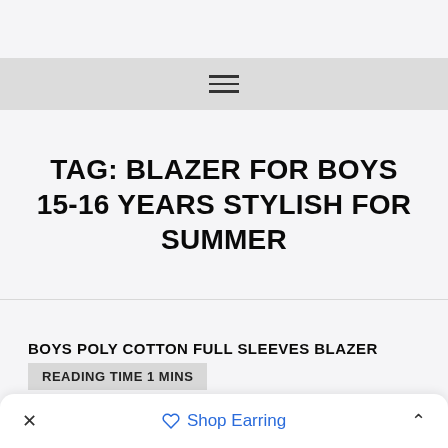[Figure (other): Navigation hamburger menu icon (three horizontal lines) on a light grey bar]
TAG: BLAZER FOR BOYS 15-16 YEARS STYLISH FOR SUMMER
BOYS POLY COTTON FULL SLEEVES BLAZER
READING TIME 1 MINS
× Shop Earring ^